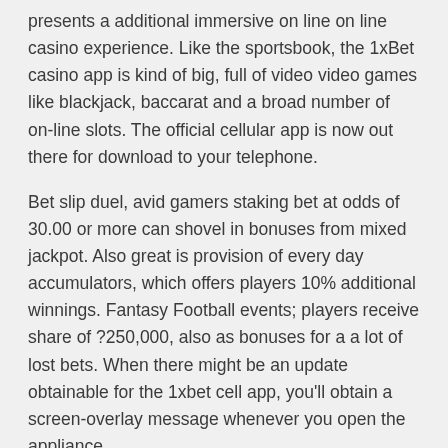presents a additional immersive on line on line casino experience. Like the sportsbook, the 1xBet casino app is kind of big, full of video video games like blackjack, baccarat and a broad number of on-line slots. The official cellular app is now out there for download to your telephone.
Bet slip duel, avid gamers staking bet at odds of 30.00 or more can shovel in bonuses from mixed jackpot. Also great is provision of every day accumulators, which offers players 10% additional winnings. Fantasy Football events; players receive share of ?250,000, also as bonuses for a a lot of lost bets. When there might be an update obtainable for the 1xbet cell app, you'll obtain a screen-overlay message whenever you open the appliance.
You can simply track all sports news and place bets wherever on the earth. Download the apk file to your gadget and run it for set up. Suitable for all phones with Android 4.1 and better operating system. It has almost the same intuitive interface and features. The only